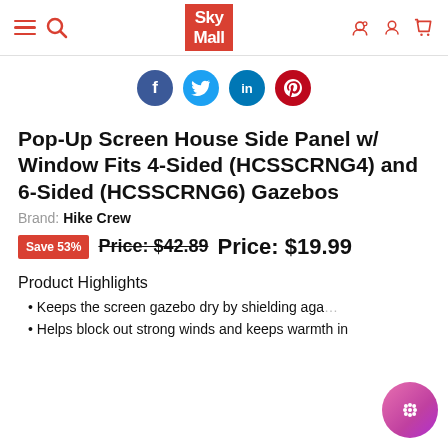SkyMall navigation header with hamburger menu, search, logo, support, account, and cart icons
[Figure (infographic): Social sharing icons: Facebook, Twitter, LinkedIn, Pinterest]
Pop-Up Screen House Side Panel w/ Window Fits 4-Sided (HCSSCRNG4) and 6-Sided (HCSSCRNG6) Gazebos
Brand: Hike Crew
Save 53% Price: $42.89 Price: $19.99
Product Highlights
Keeps the screen gazebo dry by shielding aga...
Helps block out strong winds and keeps warmth in